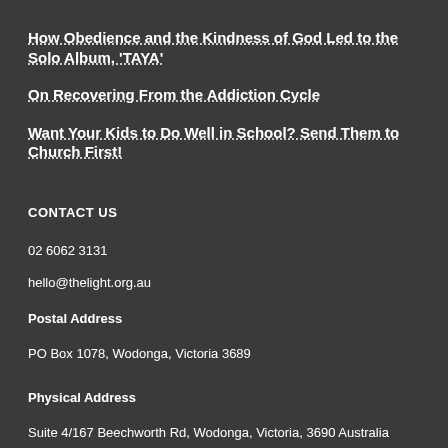How Obedience and the Kindness of God Led to the Solo Album, ‘TAYA’
On Recovering From the Addiction Cycle
Want Your Kids to Do Well in School? Send Them to Church First!
CONTACT US
02 6062 3131
hello@thelight.org.au
Postal Address
PO Box 1078, Wodonga, Victoria 3689
Physical Address
Suite 4/167 Beechworth Rd, Wodonga, Victoria, 3690 Australia